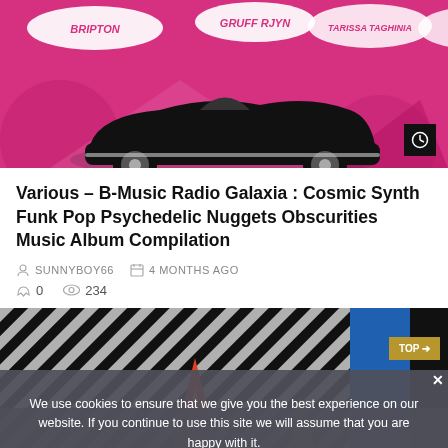[Figure (illustration): Pink/magenta pop-art style album cover banner with a black convertible car, artist names including BRIPTON, GRUFF RJYN, NENIST, TARISSA TAGHINIA on colorful speech bubbles]
Various – B-Music Radio Galaxia : Cosmic Synth Funk Pop Psychedelic Nuggets Obscurities Music Album Compilation
SUNNYBOY66   4 MONTHS AGO   0   234
[Figure (photo): Psychedelic optical illusion album artwork with black-and-white zigzag stripes, colorful flame/fire shape in center, yellow shape on right, blue strip on far right]
We use cookies to ensure that we give you the best experience on our website. If you continue to use this site we will assume that you are happy with it.
Ok   No   Privacy policy